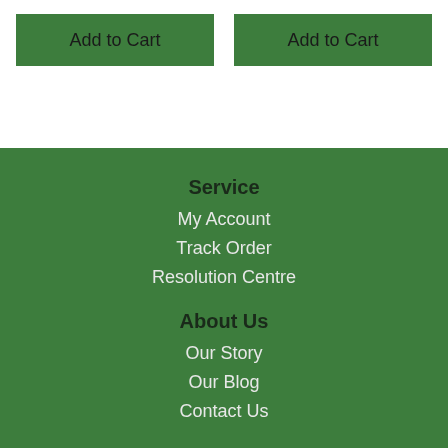Add to Cart
Add to Cart
Service
My Account
Track Order
Resolution Centre
About Us
Our Story
Our Blog
Contact Us